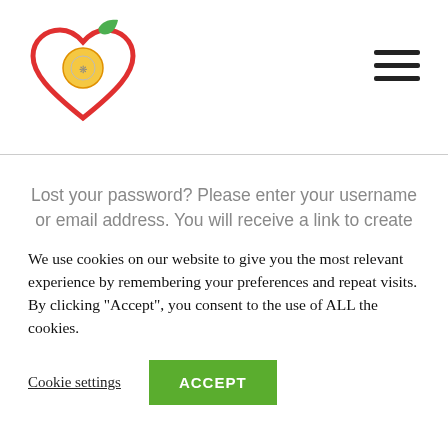[Figure (logo): Website logo: red heart outline with green leaf and orange/yellow circular emblem inside]
Lost your password? Please enter your username or email address. You will receive a link to create a new password via email.
Username or Email Address *
We use cookies on our website to give you the most relevant experience by remembering your preferences and repeat visits. By clicking "Accept", you consent to the use of ALL the cookies.
Cookie settings
ACCEPT